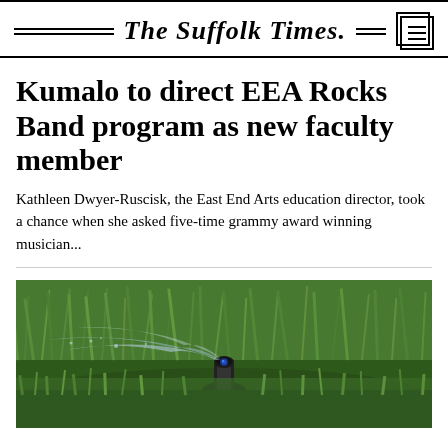The Suffolk Times.
Kumalo to direct EEA Rocks Band program as new faculty member
Kathleen Dwyer-Ruscisk, the East End Arts education director, took a chance when she asked five-time grammy award winning musician...
[Figure (photo): A lawn sprinkler head spraying water across green grass, close-up ground-level shot]